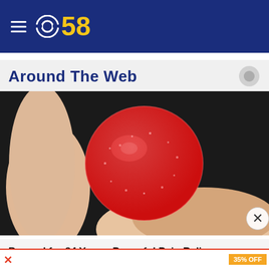CBS 58
Around The Web
[Figure (photo): A hand holding a round red sugar-coated gummy candy against a dark background]
Banned for 84 Years; Powerful Pain Reliever Legalized in Virginia